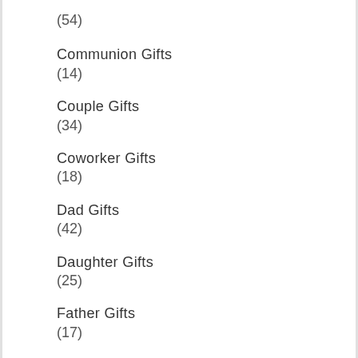(54)
Communion Gifts
(14)
Couple Gifts
(34)
Coworker Gifts
(18)
Dad Gifts
(42)
Daughter Gifts
(25)
Father Gifts
(17)
Friend Gifts
(47)